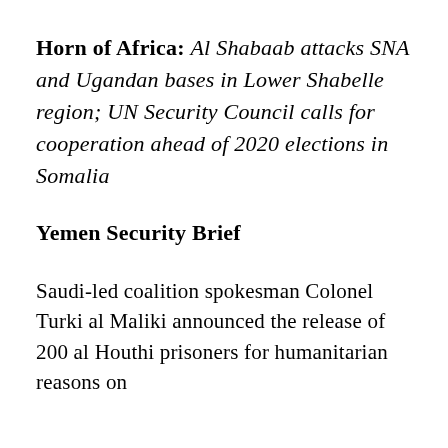Horn of Africa: Al Shabaab attacks SNA and Ugandan bases in Lower Shabelle region; UN Security Council calls for cooperation ahead of 2020 elections in Somalia
Yemen Security Brief
Saudi-led coalition spokesman Colonel Turki al Maliki announced the release of 200 al Houthi prisoners for humanitarian reasons on